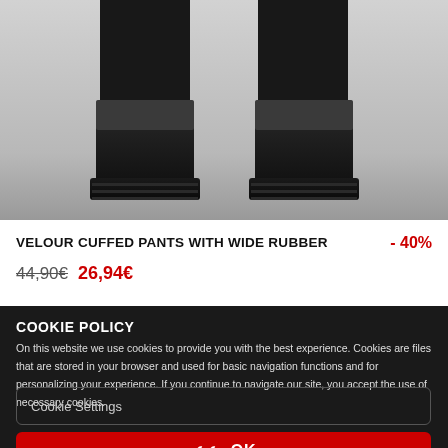[Figure (photo): Photo of black Chelsea boots with thick rubber soles, worn on legs with black pants, shown against a light grey background]
VELOUR CUFFED PANTS WITH WIDE RUBBER
- 40%
44,90€ 26,94€
COOKIE POLICY
On this website we use cookies to provide you with the best experience. Cookies are files that are stored in your browser and used for basic navigation functions and for personalizing your experience. If you continue to navigate our site, you accept the use of necessary cookies.
Cookie Settings
OK